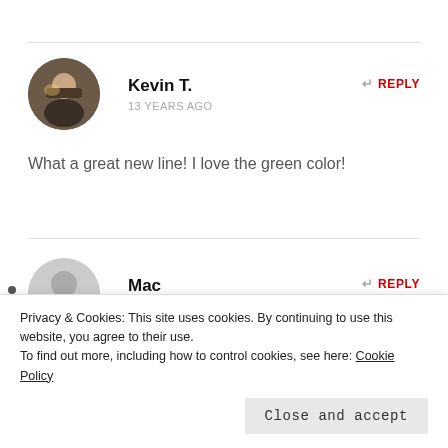[Figure (photo): Circular avatar photo of Kevin T., a person in a dark setting with light behind them]
Kevin T.
13 YEARS AGO
REPLY
What a great new line! I love the green color!
[Figure (illustration): Circular generic gray avatar placeholder for Mac]
Mac
13 YEARS AGO
REPLY
Privacy & Cookies: This site uses cookies. By continuing to use this website, you agree to their use.
To find out more, including how to control cookies, see here: Cookie Policy
Close and accept